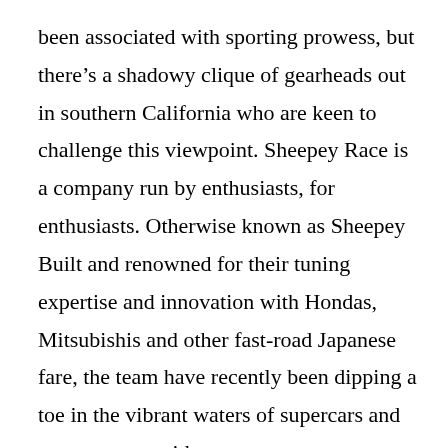been associated with sporting prowess, but there's a shadowy clique of gearheads out in southern California who are keen to challenge this viewpoint. Sheepey Race is a company run by enthusiasts, for enthusiasts. Otherwise known as Sheepey Built and renowned for their tuning expertise and innovation with Hondas, Mitsubishis and other fast-road Japanese fare, the team have recently been dipping a toe in the vibrant waters of supercars and motorsport – with some